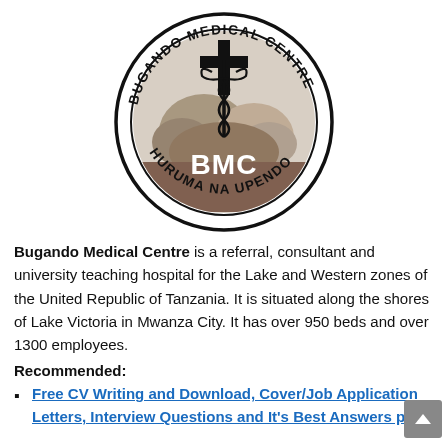[Figure (logo): Bugando Medical Centre circular logo showing BMC text, a caduceus symbol, a cross, and a background scene. Text around the circle reads 'BUGANDO MEDICAL CENTRE' at top and 'HURUMA NA UPENDO' at bottom.]
Bugando Medical Centre is a referral, consultant and university teaching hospital for the Lake and Western zones of the United Republic of Tanzania. It is situated along the shores of Lake Victoria in Mwanza City. It has over 950 beds and over 1300 employees.
Recommended:
Free CV Writing and Download, Cover/Job Application Letters, Interview Questions and It's Best Answers plus